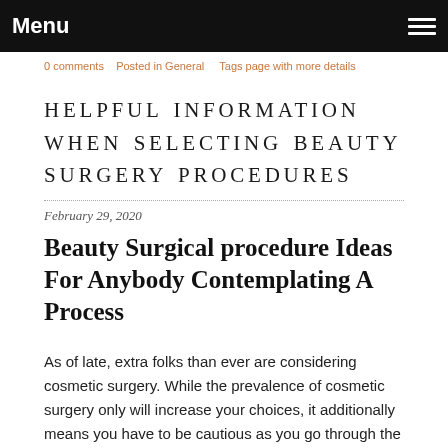Menu
0 comments   Posted in General   Tags page with more details
HELPFUL INFORMATION WHEN SELECTING BEAUTY SURGERY PROCEDURES
February 29, 2020
Beauty Surgical procedure Ideas For Anybody Contemplating A Process
As of late, extra folks than ever are considering cosmetic surgery. While the prevalence of cosmetic surgery only will increase your choices, it additionally means you have to be cautious as you go through the process of a cosmetic p…